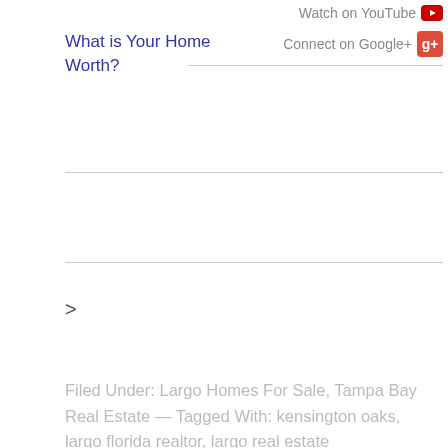What is Your Home Worth?
Watch on YouTube
Connect on Google+
>
Filed Under: Largo Homes For Sale, Tampa Bay Real Estate — Tagged With: kensington oaks, largo florida realtor, largo real estate
Selling a Largo Home? – Keller Williams Largo FL